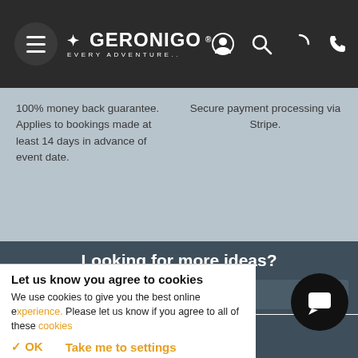Geronigo — Every Adventure. Navigation bar with hamburger menu, logo, user icon, search icon, loading icon, phone icon.
100% money back guarantee. Applies to bookings made at least 14 days in advance of event date.
Secure payment processing via Stripe.
Looking for more ideas?
+ Other Vouchers
Paintball Experience For 2
Paintball Blast
Let us know you agree to cookies
We use cookies to give you the best online experience. Please let us know if you agree to all of these cookies.
✓ OK   Take me to settings